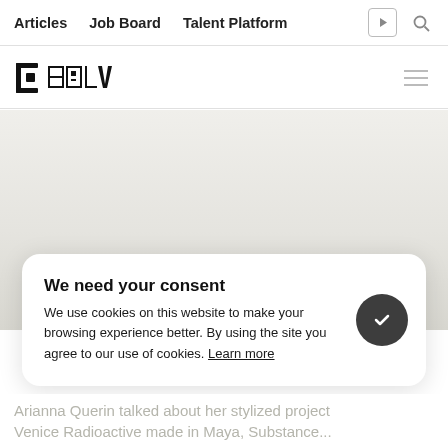Articles  Job Board  Talent Platform
[Figure (logo): 80lv logo with stylized bracket and pixelated text]
[Figure (photo): Large light gray/beige hero banner area]
We need your consent
We use cookies on this website to make your browsing experience better. By using the site you agree to our use of cookies. Learn more
Arianna Querin talked about her stylized project Venice Radioactive made in Maya, Substance...